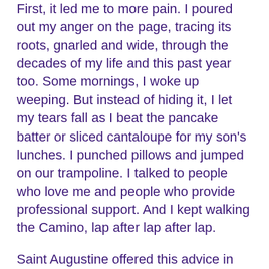First, it led me to more pain. I poured out my anger on the page, tracing its roots, gnarled and wide, through the decades of my life and this past year too. Some mornings, I woke up weeping. But instead of hiding it, I let my tears fall as I beat the pancake batter or sliced cantaloupe for my son's lunches. I punched pillows and jumped on our trampoline. I talked to people who love me and people who provide professional support. And I kept walking the Camino, lap after lap after lap.
Saint Augustine offered this advice in the fifth century: “It is solved by walking.” Most faith traditions—Buddhism, Judaism, Christianity, Islam—offer pilgrimage as a means of drawing us closer to the divine. Jesus, himself, walked just about everywhere, suggesting that we emulate his ability